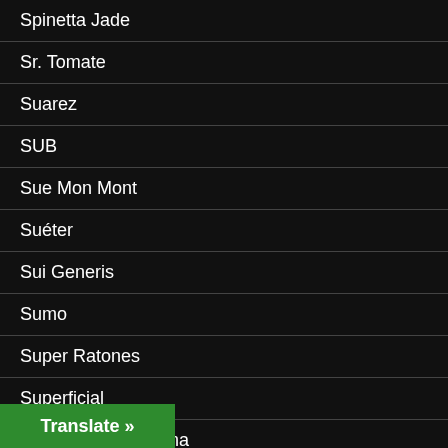Spinetta Jade
Sr. Tomate
Suarez
SUB
Sue Mon Mont
Suéter
Sui Generis
Sumo
Super Ratones
Superficial
Surfistas del Sistema
Translate »